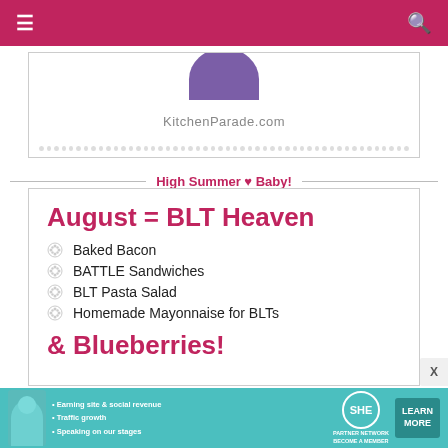≡  [navigation bar]  🔍
[Figure (logo): KitchenParade.com logo card with purple semicircle at top and dotted border]
High Summer ♥ Baby!
August = BLT Heaven
Baked Bacon
BATTLE Sandwiches
BLT Pasta Salad
Homemade Mayonnaise for BLTs
& Blueberries!
[Figure (infographic): SHE Partner Network advertisement banner with woman photo, bullet points about earning site revenue, traffic growth, speaking on stages, SHE logo, and LEARN MORE button]